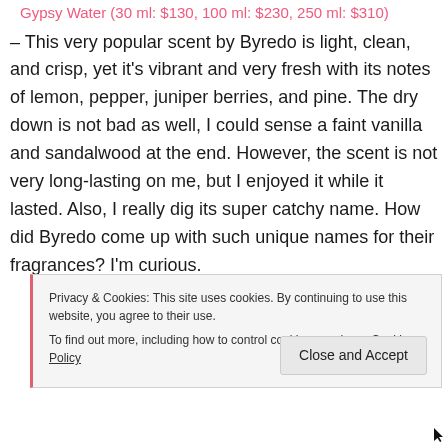Gypsy Water (30 ml: $130, 100 ml: $230, 250 ml: $310)
– This very popular scent by Byredo is light, clean, and crisp, yet it's vibrant and very fresh with its notes of lemon, pepper, juniper berries, and pine. The dry down is not bad as well, I could sense a faint vanilla and sandalwood at the end. However, the scent is not very long-lasting on me, but I enjoyed it while it lasted. Also, I really dig its super catchy name. How did Byredo come up with such unique names for their fragrances? I'm curious.
Privacy & Cookies: This site uses cookies. By continuing to use this website, you agree to their use. To find out more, including how to control cookies, see here: Cookie Policy